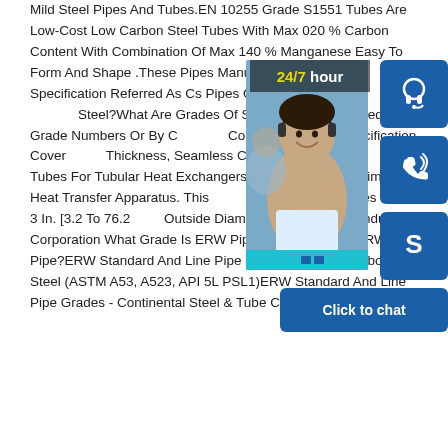Mild Steel Pipes And Tubes.EN 10255 Grade S1551 Tubes Are Low-Cost Low Carbon Steel Tubes With Max 020 % Carbon Content With Combination Of Max 140 % Manganese Easy To Form And Shape .These Pipes Manufactured As Per EN Specification Referred As Cs Pipes Or Ms Pipes What Is Carbon Steel?What Are Grades Of Steel?Grades Are Identified By Grade Numbers Or By Composition. This Specification Covers Thickness, Seamless Cold-Drawn Low Tubes For Tubular Heat Exchangers, Similar Heat Transfer Apparatus. This Covers Tubes 1/8 To 3 In. [3.2 To 76.2 Outside Diameter.Specifications Indus Corporation What Grade Is ERW Pipe?What Grade Is ERW Pipe?ERW Standard And Line Pipe Grades Grade A Carbon Steel (ASTM A53, A523, API 5L PSL1)ERW Standard And Line Pipe Grades - Continental Steel & Tube Company
[Figure (photo): Customer service representative with headset, overlaid with 24/7 hour banner, headset icon button, phone icon button, Skype icon button, and Click to chat button]